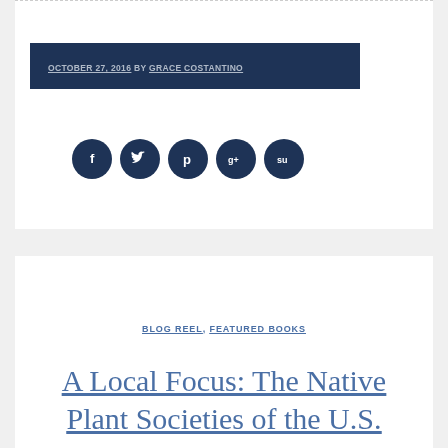OCTOBER 27, 2016 BY GRACE COSTANTINO
[Figure (infographic): Five dark navy circular social media icon buttons: Facebook (f), Twitter (bird), Pinterest (p), Google+ (g+), StumbleUpon (su)]
BLOG REEL, FEATURED BOOKS
A Local Focus: The Native Plant Societies of the U.S.